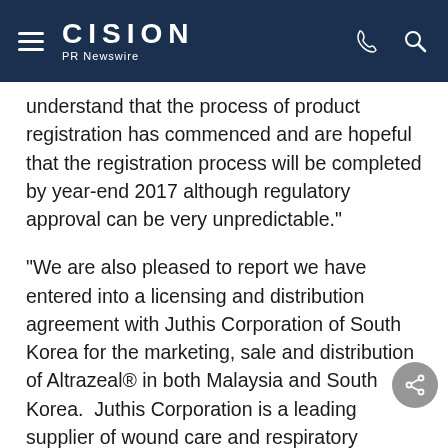CISION PR Newswire
understand that the process of product registration has commenced and are hopeful that the registration process will be completed by year-end 2017 although regulatory approval can be very unpredictable."
"We are also pleased to report we have entered into a licensing and distribution agreement with Juthis Corporation of South Korea for the marketing, sale and distribution of Altrazeal® in both Malaysia and South Korea.  Juthis Corporation is a leading supplier of wound care and respiratory products in these two countries and is well positioned to facilitate the sale and distribution of Altrazeal®.  In order to support our